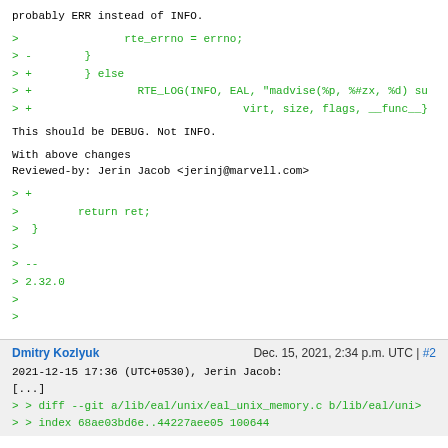probably ERR instead of INFO.
>                rte_errno = errno;
> -        }
> +        } else
> +                RTE_LOG(INFO, EAL, "madvise(%p, %#zx, %d) su
> +                                virt, size, flags, __func__}
This should be DEBUG. Not INFO.
With above changes
Reviewed-by: Jerin Jacob <jerinj@marvell.com>
> +
>         return ret;
>  }
>
> --
> 2.32.0
>
>
Dmitry Kozlyuk
Dec. 15, 2021, 2:34 p.m. UTC | #2
2021-12-15 17:36 (UTC+0530), Jerin Jacob:
[...]
> > diff --git a/lib/eal/unix/eal_unix_memory.c b/lib/eal/uni>
> > index 68ae03bd6e..44227aee05 100644